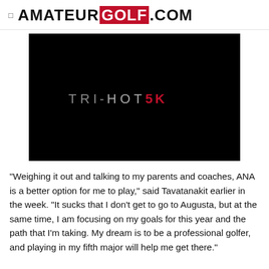AMATEUR GOLF.COM
[Figure (logo): Black rectangular image with 'TRI-HOT 5K' text in gray and red lettering on black background]
"Weighing it out and talking to my parents and coaches, ANA is a better option for me to play," said Tavatanakit earlier in the week. "It sucks that I don't get to go to Augusta, but at the same time, I am focusing on my goals for this year and the path that I'm taking. My dream is to be a professional golfer, and playing in my fifth major will help me get there."